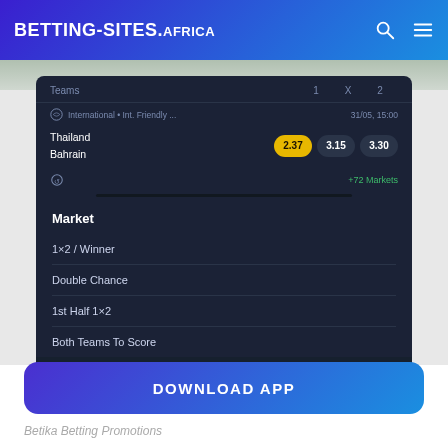BETTING-SITES.AFRICA
[Figure (screenshot): Screenshot of a sports betting app showing Thailand vs Bahrain match with odds 2.37, 3.15, 3.30 and a market selection drawer with options: 1x2/Winner, Double Chance, 1st Half 1x2, Both Teams To Score, Cancel]
DOWNLOAD APP
Betika Betting Promotions